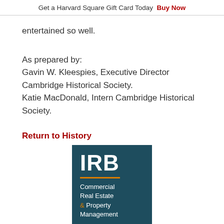Get a Harvard Square Gift Card Today  Buy Now
entertained so well.
As prepared by:
Gavin W. Kleespies, Executive Director Cambridge Historical Society.
Katie MacDonald, Intern Cambridge Historical Society.
Return to History
[Figure (logo): IRB Commercial Real Estate & Property Management logo on a dark teal background with an orange horizontal rule]